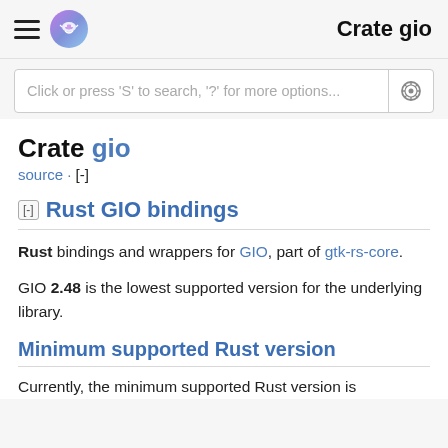Crate gio
Click or press 'S' to search, '?' for more options...
Crate gio
source · [-]
Rust GIO bindings
Rust bindings and wrappers for GIO, part of gtk-rs-core.
GIO 2.48 is the lowest supported version for the underlying library.
Minimum supported Rust version
Currently, the minimum supported Rust version is